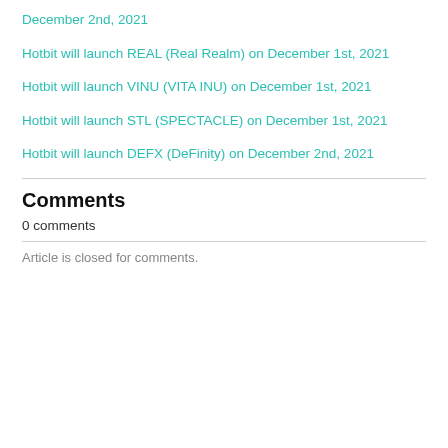December 2nd, 2021
Hotbit will launch REAL (Real Realm) on December 1st, 2021
Hotbit will launch VINU (VITA INU) on December 1st, 2021
Hotbit will launch STL (SPECTACLE) on December 1st, 2021
Hotbit will launch DEFX (DeFinity) on December 2nd, 2021
Comments
0 comments
Article is closed for comments.